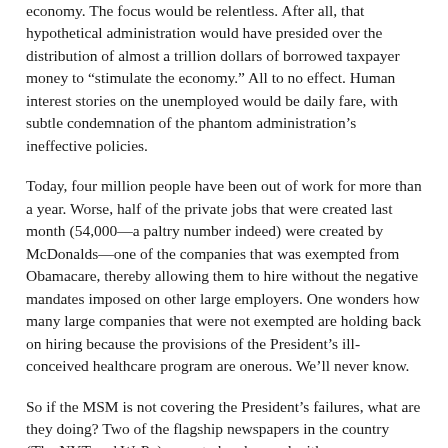economy. The focus would be relentless. After all, that hypothetical administration would have presided over the distribution of almost a trillion dollars of borrowed taxpayer money to “stimulate the economy.” All to no effect. Human interest stories on the unemployed would be daily fare, with subtle condemnation of the phantom administration’s ineffective policies.
Today, four million people have been out of work for more than a year. Worse, half of the private jobs that were created last month (54,000—a paltry number indeed) were created by McDonalds—one of the companies that was exempted from Obamacare, thereby allowing them to hire without the negative mandates imposed on other large employers. One wonders how many large companies that were not exempted are holding back on hiring because the provisions of the President’s ill-conceived healthcare program are onerous. We’ll never know.
So if the MSM is not covering the President’s failures, what are they doing? Two of the flagship newspapers in the country (The NYT and WaPo) seem to be obsessed with